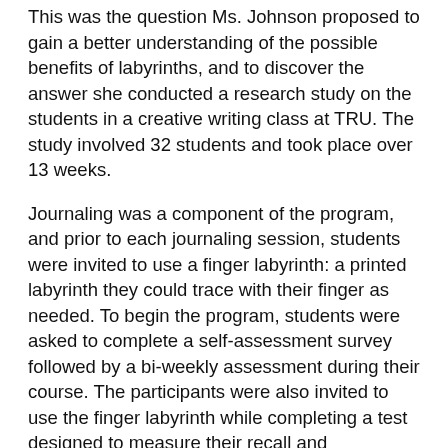This was the question Ms. Johnson proposed to gain a better understanding of the possible benefits of labyrinths, and to discover the answer she conducted a research study on the students in a creative writing class at TRU. The study involved 32 students and took place over 13 weeks.
Journaling was a component of the program, and prior to each journaling session, students were invited to use a finger labyrinth: a printed labyrinth they could trace with their finger as needed. To begin the program, students were asked to complete a self-assessment survey followed by a bi-weekly assessment during their course. The participants were also invited to use the finger labyrinth while completing a test designed to measure their recall and application of basic concepts.